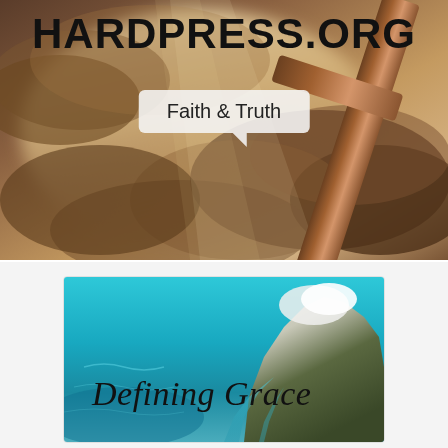[Figure (illustration): Hero banner with dramatic cloudy sky and wooden cross, dark atmospheric tones with light breaking through clouds]
HARDPRESS.ORG
Faith & Truth
[Figure (illustration): Book cover thumbnail: 'Defining Grace' — cursive script over a turquoise ocean aerial view with mountainous island shoreline]